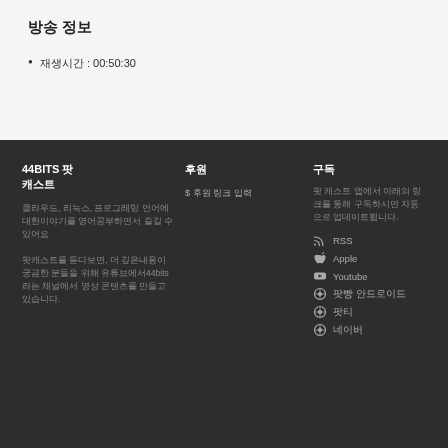방송 정보
재생시간 : 00:50:30
44BITS 팟 캐스트
클라우드, 리눅스, 프로그래밍 언어에 대한이야기를 영어공부하면서 즐길 수있어요
팟캐스트를 듣다보면, 더 깊은내용이 궁금한 분들을 위해 유튜브에서44bits라는 채널에서 영상 콘텐츠를 만들고 있습니다.
후원
$ 후원 링크 입력
구독
팟 캐스트 앱에서 아래의 링크를 통해 구독하시면 자동으로 업데이트됩니다.
RSS
Apple
Youtube
팟빵 안드로이드
팟티
네이버